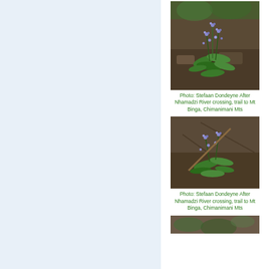[Figure (photo): Small plant with blue/purple flowers growing in rocky/soil ground - close-up nature photo by Stefaan Dondeyne, Chimanimani Mts]
Photo: Stefaan Dondeyne After Nhamadzi River crossing, trail to Mt Binga, Chimanimani Mts
[Figure (photo): Small plant with blue/purple forget-me-not style flowers on rocky soil ground - close-up nature photo by Stefaan Dondeyne, Chimanimani Mts]
Photo: Stefaan Dondeyne After Nhamadzi River crossing, trail to Mt Binga, Chimanimani Mts
[Figure (photo): Partial view of another nature photo at bottom of page]